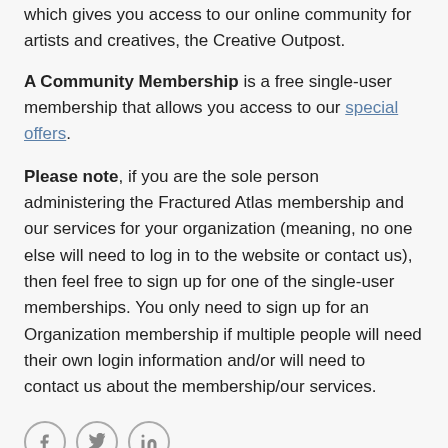which gives you access to our online community for artists and creatives, the Creative Outpost.
A Community Membership is a free single-user membership that allows you access to our special offers.
Please note, if you are the sole person administering the Fractured Atlas membership and our services for your organization (meaning, no one else will need to log in to the website or contact us), then feel free to sign up for one of the single-user memberships. You only need to sign up for an Organization membership if multiple people will need their own login information and/or will need to contact us about the membership/our services.
[Figure (other): Social sharing icons: Facebook, Twitter, LinkedIn in circular outlines]
Was this article helpful?